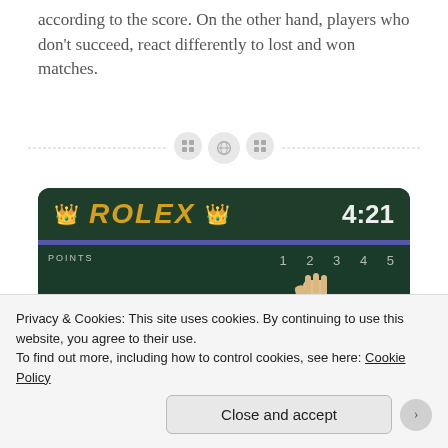according to the score. On the other hand, players who don't succeed, react differently to lost and won matches.
[Figure (photo): A Rolex scoreboard at a Wimbledon tennis match showing time 4:21 and score numbers, with a tennis player's raised fist visible in the foreground.]
Privacy & Cookies: This site uses cookies. By continuing to use this website, you agree to their use.
To find out more, including how to control cookies, see here: Cookie Policy
Close and accept